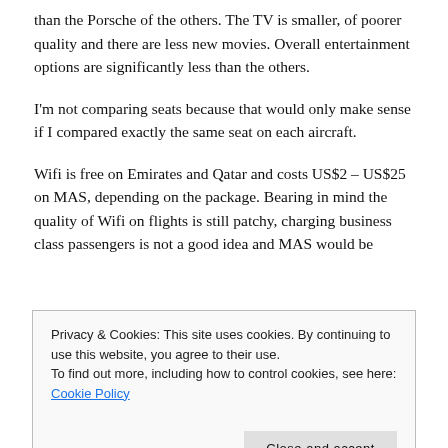The Malaysian Airlines cabin is functional. It's more Toyota than the Porsche of the others. The TV is smaller, of poorer quality and there are less new movies. Overall entertainment options are significantly less than the others.
I'm not comparing seats because that would only make sense if I compared exactly the same seat on each aircraft.
Wifi is free on Emirates and Qatar and costs US$2 – US$25 on MAS, depending on the package. Bearing in mind the quality of Wifi on flights is still patchy, charging business class passengers is not a good idea and MAS would be
Privacy & Cookies: This site uses cookies. By continuing to use this website, you agree to their use.
To find out more, including how to control cookies, see here: Cookie Policy
Close and accept
I'll focus on key experiential points here and not do a food